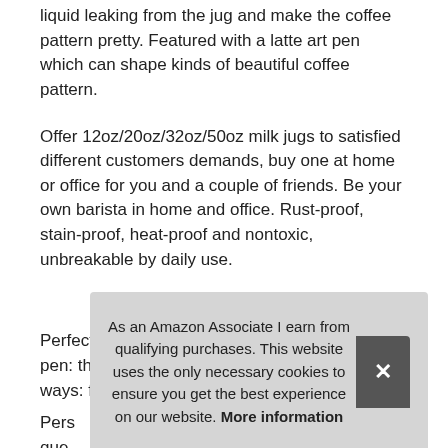liquid leaking from the jug and make the coffee pattern pretty. Featured with a latte art pen which can shape kinds of beautiful coffee pattern.
Offer 12oz/20oz/32oz/50oz milk jugs to satisfied different customers demands, buy one at home or office for you and a couple of friends. Be your own barista in home and office. Rust-proof, stain-proof, heat-proof and nontoxic, unbreakable by daily use.
More information #ad
Perfect combination of milk jugs and latte art pen: the milk frother jug can be used in different ways: froth or steam milk for l
Pers que Premium quality: the milk steaming pitchers and coffee art
As an Amazon Associate I earn from qualifying purchases. This website uses the only necessary cookies to ensure you get the best experience on our website. More information